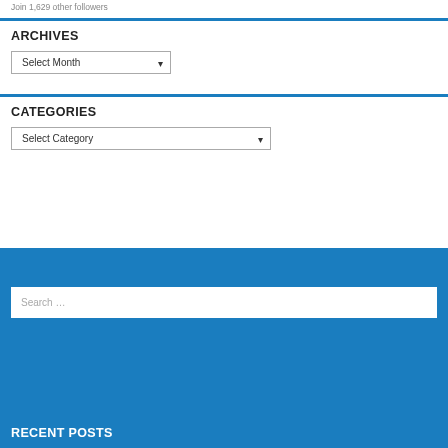Join 1,629 other followers
ARCHIVES
Select Month
CATEGORIES
Select Category
Search …
RECENT POSTS